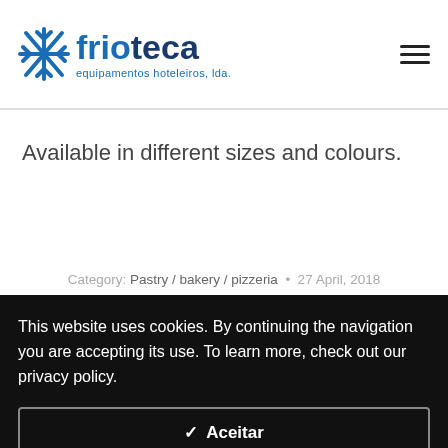[Figure (logo): Frioteca logo with snowflake icon and text 'frioteca equipamentos hoteleiros, lda.' in blue]
Available in different sizes and colours.
Category: Pastry / bakery / pizzeria  •  27 April, 2018
This website uses cookies. By continuing the navigation you are accepting its use. To learn more, check out our privacy policy.
✓  Aceitar
Settings  ⚙